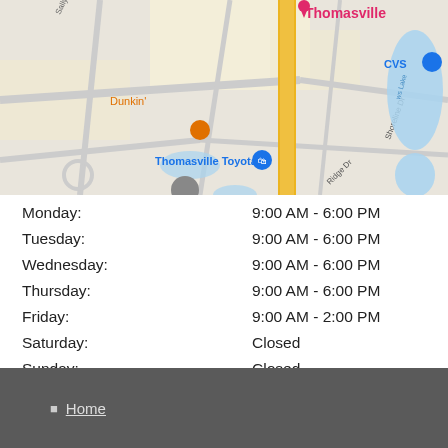[Figure (map): Google Maps screenshot showing area around Thomasville Toyota in Thomasville, with roads, landmarks including CVS, Dunkin', Bargain Outlet, Commercial Dr, Ridge Dr, Shoreline Dr, and a water body labeled Ws Lake]
| Day | Hours |
| --- | --- |
| Monday: | 9:00 AM - 6:00 PM |
| Tuesday: | 9:00 AM - 6:00 PM |
| Wednesday: | 9:00 AM - 6:00 PM |
| Thursday: | 9:00 AM - 6:00 PM |
| Friday: | 9:00 AM - 2:00 PM |
| Saturday: | Closed |
| Sunday: | Closed |
Home